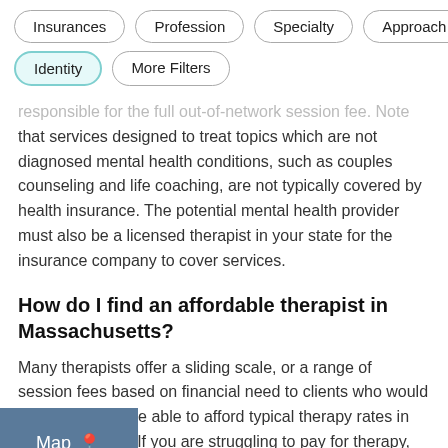Insurances
Profession
Specialty
Approach
Identity
More Filters
responsible for the full out-of-network session fee. Note that services designed to treat topics which are not diagnosed mental health conditions, such as couples counseling and life coaching, are not typically covered by health insurance. The potential mental health provider must also be a licensed therapist in your state for the insurance company to cover services.
How do I find an affordable therapist in Massachusetts?
Many therapists offer a sliding scale, or a range of session fees based on financial need to clients who would not be able to afford typical therapy rates in Massachusetts. If you are struggling to pay for therapy, consider asking for a sliding scale, looking for an in-